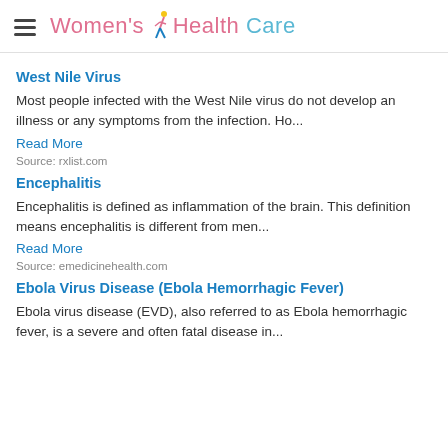Women's Health Care
West Nile Virus
Most people infected with the West Nile virus do not develop an illness or any symptoms from the infection. Ho...
Read More
Source: rxlist.com
Encephalitis
Encephalitis is defined as inflammation of the brain. This definition means encephalitis is different from men...
Read More
Source: emedicinehealth.com
Ebola Virus Disease (Ebola Hemorrhagic Fever)
Ebola virus disease (EVD), also referred to as Ebola hemorrhagic fever, is a severe and often fatal disease in...